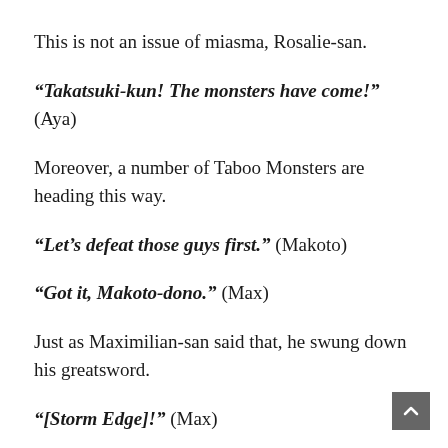This is not an issue of miasma, Rosalie-san.
“Takatsuki-kun! The monsters have come!” (Aya)
Moreover, a number of Taboo Monsters are heading this way.
“Let’s defeat those guys first.” (Makoto)
“Got it, Makoto-dono.” (Max)
Just as Maximilian-san said that, he swung down his greatsword.
“[Storm Edge]!” (Max)
A giant tornado swallows up the monsters and cuts them.